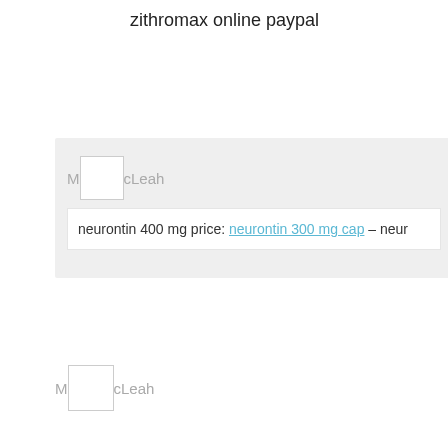zithromax online paypal
M[avatar]cLeah
neurontin 400 mg price: neurontin 300 mg cap – neur
M[avatar]cLeah